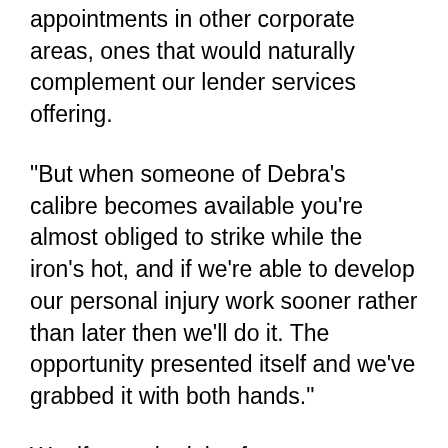appointments in other corporate areas, ones that would naturally complement our lender services offering.
"But when someone of Debra's calibre becomes available you're almost obliged to strike while the iron's hot, and if we're able to develop our personal injury work sooner rather than later then we'll do it. The opportunity presented itself and we've grabbed it with both hands."
Woolfson, who joins from Manchester's Pannone, has been running a varied caseload of personal injury claims, including amputation, fatal and non-fatal road traffic collision cases, disease claims, and professional negligence claims with a personal...